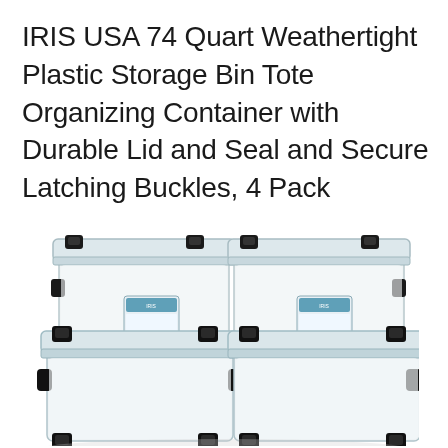IRIS USA 74 Quart Weathertight Plastic Storage Bin Tote Organizing Container with Durable Lid and Seal and Secure Latching Buckles, 4 Pack
[Figure (photo): Four clear plastic weathertight storage bins with black latching buckles, stacked in a 2x2 arrangement. Each bin has a semi-transparent lid with black clips on the sides and a small label on the front.]